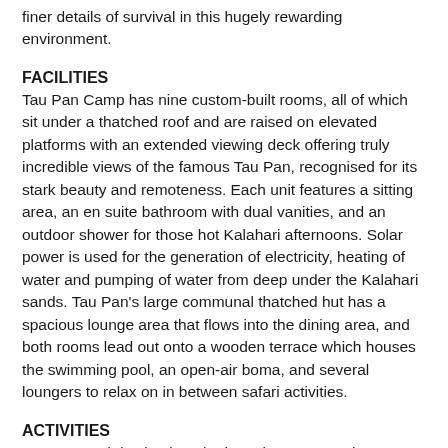finer details of survival in this hugely rewarding environment.
FACILITIES
Tau Pan Camp has nine custom-built rooms, all of which sit under a thatched roof and are raised on elevated platforms with an extended viewing deck offering truly incredible views of the famous Tau Pan, recognised for its stark beauty and remoteness. Each unit features a sitting area, an en suite bathroom with dual vanities, and an outdoor shower for those hot Kalahari afternoons. Solar power is used for the generation of electricity, heating of water and pumping of water from deep under the Kalahari sands. Tau Pan's large communal thatched hut has a spacious lounge area that flows into the dining area, and both rooms lead out onto a wooden terrace which houses the swimming pool, an open-air boma, and several loungers to relax on in between safari activities.
ACTIVITIES
A year-round destination, the best time to go to the Kalahari is between early December and April when the warm summer rains rejuvenate the region: many antelope species give birth, flocks of migrant birds arrive and the Kalahari predators - lion, cheetah, wild